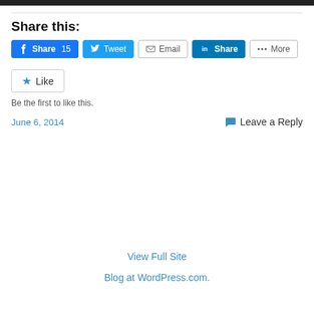[Figure (photo): Dark banner image at top of page]
Share this:
[Figure (screenshot): Share buttons row: Facebook Share 15, Tweet, Email, LinkedIn Share, More]
[Figure (screenshot): Like button widget with star icon]
Be the first to like this.
June 6, 2014
Leave a Reply
View Full Site
Blog at WordPress.com.